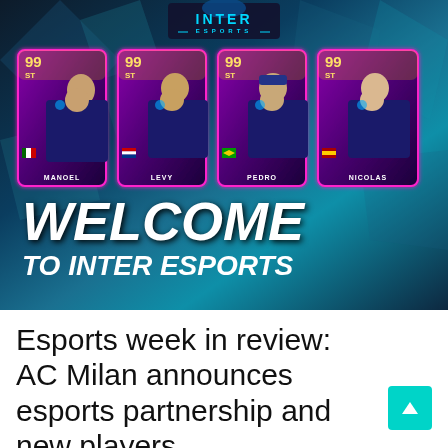[Figure (illustration): Inter Esports promotional banner showing four FIFA Ultimate Team player cards (MANOEL 99 ST, LEVY 99 ST, PEDRO 99 ST, NICOLAS 99 ST) in purple/pink gradient style with 'WELCOME TO INTER ESPORTS' text and the Inter Esports logo at the top]
Esports week in review: AC Milan announces esports partnership and new players